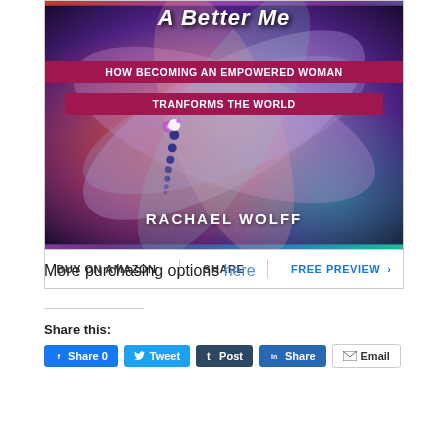[Figure (illustration): Book cover for 'A Better Me: How Becoming an Empowered Woman Transforms the World' by Rachael Wolff. Colorful butterfly/swirl artwork in purples, blues, reds. Title in white script at top, subtitle in dark pink/magenta banner, author name in white bold at bottom.]
BUY ON AMAZON | SHARE | FREE PREVIEW >
More purchasing options here
Share this:
Share 0  Tweet  Post  Share  Email